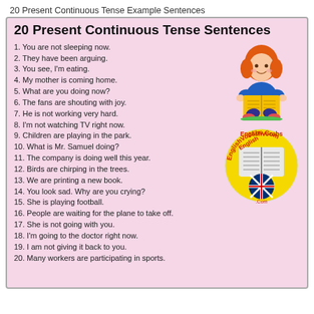20 Present Continuous Tense Example Sentences
20 Present Continuous Tense Sentences
1. You are not sleeping now.
2. They have been arguing.
3. You see, I'm eating.
4. My mother is coming home.
5. What are you doing now?
6. The fans are shouting with joy.
7. He is not working very hard.
8. I'm not watching TV right now.
9. Children are playing in the park.
10. What is Mr. Samuel doing?
11. The company is doing well this year.
12. Birds are chirping in the trees.
13. We are printing a new book.
14. You look sad. Why are you crying?
15. She is playing football.
16. People are waiting for the plane to take off.
17. She is not going with you.
18. I'm going to the doctor right now.
19. I am not giving it back to you.
20. Many workers are participating in sports.
[Figure (illustration): Cartoon girl with red hair sitting and reading a yellow book]
[Figure (logo): EnglishVocabs.Com circular logo with book and UK flag]